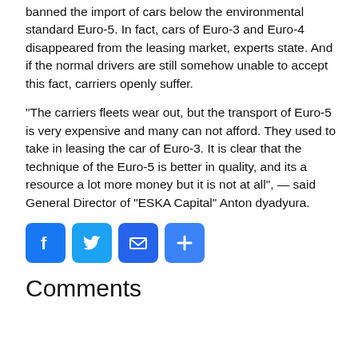banned the import of cars below the environmental standard Euro-5. In fact, cars of Euro-3 and Euro-4 disappeared from the leasing market, experts state. And if the normal drivers are still somehow unable to accept this fact, carriers openly suffer.
“The carriers fleets wear out, but the transport of Euro-5 is very expensive and many can not afford. They used to take in leasing the car of Euro-3. It is clear that the technique of the Euro-5 is better in quality, and its a resource a lot more money but it is not at all”, — said General Director of “ESKA Capital” Anton dyadyura.
[Figure (other): Social share buttons: Facebook, Twitter, Email, Share]
Comments